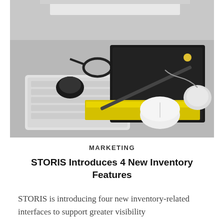[Figure (photo): Overhead photo of a desk with a white keyboard, glasses, black notebooks, pencils, a white Apple mouse, and computer monitor in the background]
MARKETING
STORIS Introduces 4 New Inventory Features
STORIS is introducing four new inventory-related interfaces to support greater visibility